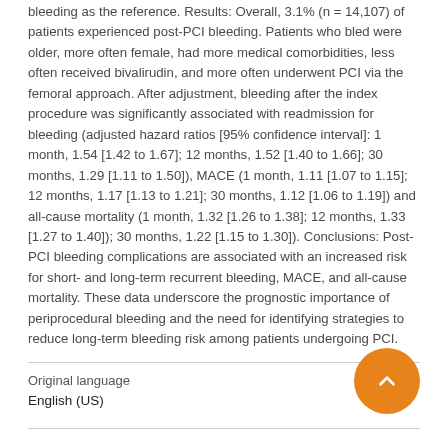bleeding as the reference. Results: Overall, 3.1% (n = 14,107) of patients experienced post-PCI bleeding. Patients who bled were older, more often female, had more medical comorbidities, less often received bivalirudin, and more often underwent PCI via the femoral approach. After adjustment, bleeding after the index procedure was significantly associated with readmission for bleeding (adjusted hazard ratios [95% confidence interval]: 1 month, 1.54 [1.42 to 1.67]; 12 months, 1.52 [1.40 to 1.66]; 30 months, 1.29 [1.11 to 1.50]), MACE (1 month, 1.11 [1.07 to 1.15]; 12 months, 1.17 [1.13 to 1.21]; 30 months, 1.12 [1.06 to 1.19]) and all-cause mortality (1 month, 1.32 [1.26 to 1.38]; 12 months, 1.33 [1.27 to 1.40]); 30 months, 1.22 [1.15 to 1.30]). Conclusions: Post-PCI bleeding complications are associated with an increased risk for short- and long-term recurrent bleeding, MACE, and all-cause mortality. These data underscore the prognostic importance of periprocedural bleeding and the need for identifying strategies to reduce long-term bleeding risk among patients undergoing PCI.
Original language
English (US)